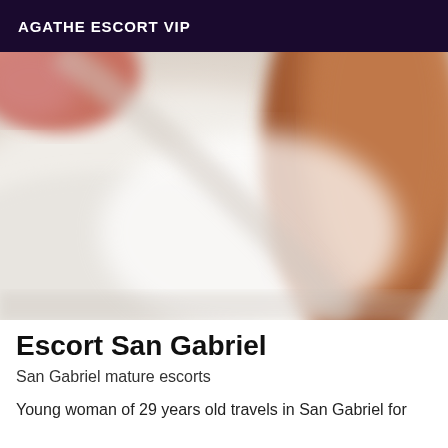AGATHE ESCORT VIP
[Figure (photo): Close-up blurred photo showing skin tones, whites and soft focus, appearing to be an intimate photo used as a profile image for an escort listing.]
Escort San Gabriel
San Gabriel mature escorts
Young woman of 29 years old travels in San Gabriel for